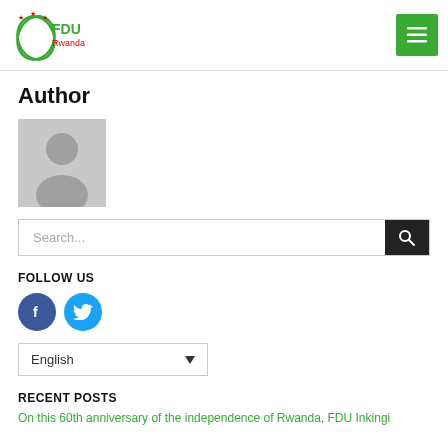[Figure (logo): FDU Rwanda logo with green leaf and red stars]
Author
[Figure (photo): Default grey avatar/profile placeholder image]
Search...
FOLLOW US
[Figure (illustration): Facebook and Twitter social media icon buttons]
English
RECENT POSTS
On this 60th anniversary of the independence of Rwanda, FDU Inkingi